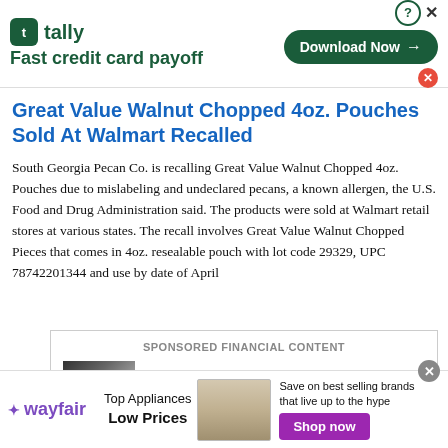[Figure (other): Tally app advertisement banner — logo, 'Fast credit card payoff' tagline, and 'Download Now' button]
Great Value Walnut Chopped 4oz. Pouches Sold At Walmart Recalled
South Georgia Pecan Co. is recalling Great Value Walnut Chopped 4oz. Pouches due to mislabeling and undeclared pecans, a known allergen, the U.S. Food and Drug Administration said. The products were sold at Walmart retail stores at various states. The recall involves Great Value Walnut Chopped Pieces that comes in 4oz. resealable pouch with lot code 29329, UPC 78742201344 and use by date of April
[Figure (other): Sponsored Financial Content section showing 'New EV Set to Disrupt' article thumbnail]
[Figure (other): Wayfair advertisement — Top Appliances Low Prices, Save on best selling brands that live up to the hype, Shop now button]